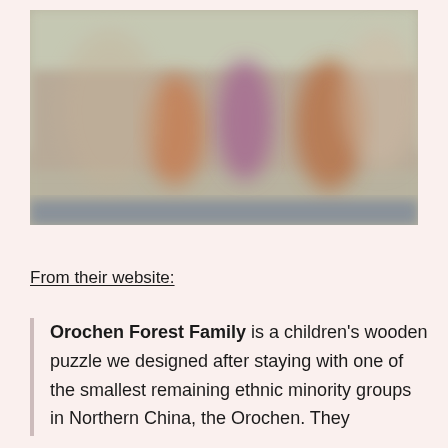[Figure (photo): A blurry photograph showing what appears to be children or figures, with blurred colors of orange, purple, and brown tones against a muted green background. The bottom of the image has a bluish strip.]
From their website:
Orochen Forest Family is a children's wooden puzzle we designed after staying with one of the smallest remaining ethnic minority groups in Northern China, the Orochen. They